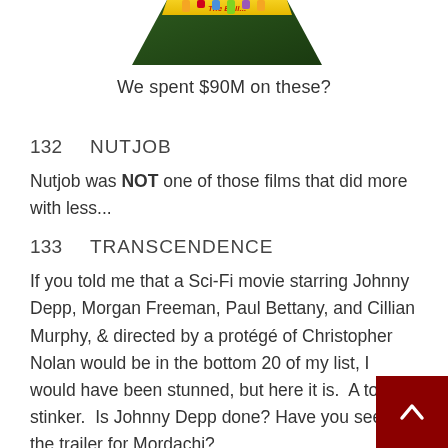[Figure (photo): Partial image of a Crayola crayons box at the top of the page]
We spent $90M on these?
132     NUTJOB
Nutjob was NOT one of those films that did more with less...
133     TRANSCENDENCE
If you told me that a Sci-Fi movie starring Johnny Depp, Morgan Freeman, Paul Bettany, and Cillian Murphy, & directed by a protégé of Christopher Nolan would be in the bottom 20 of my list, I would have been stunned, but here it is.  A total stinker.  Is Johnny Depp done? Have you seen the trailer for Mordachi?